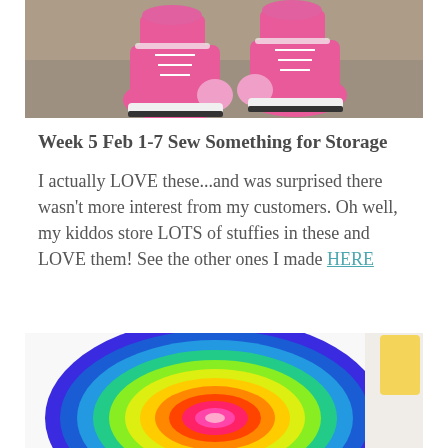[Figure (photo): Photo of child's feet wearing pink high-top Converse sneakers on a concrete surface]
Week 5 Feb 1-7 Sew Something for Storage
I actually LOVE these...and was surprised there wasn't more interest from my customers. Oh well, my kiddos store LOTS of stuffies in these and LOVE them! See the other ones I made HERE
[Figure (photo): Photo of a colorful rainbow spiral crochet rug or mat seen from above]